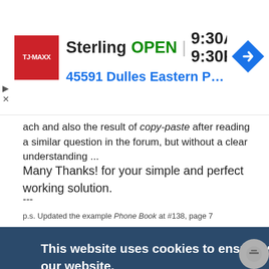[Figure (screenshot): TJ Maxx advertisement banner showing store location in Sterling, OPEN 9:30AM-9:30PM, address 45591 Dulles Eastern Plaza, Sterl., with red TJ Maxx logo and blue navigation arrow icon]
ach and also the result of copy-paste after reading a similar question in the forum, but without a clear understanding ...
Many Thanks! for your simple and perfect working solution.
---
p.s. Updated the example Phone Book at #138, page 7
This website uses cookies to ensure you get the best experience on our website.
Learn more
Got it!
Hi @Melba23